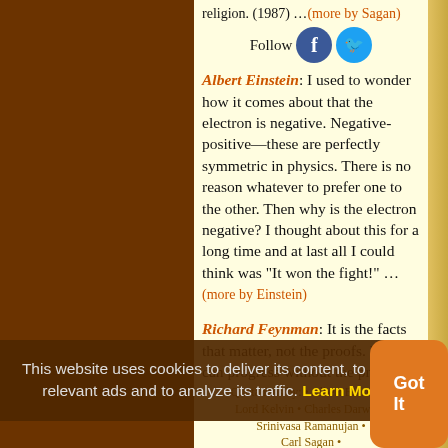religion. (1987) ...(more by Sagan)
Follow
Albert Einstein: I used to wonder how it comes about that the electron is negative. Negative-positive—these are perfectly symmetric in physics. There is no reason whatever to prefer one to the other. Then why is the electron negative? I thought about this for a long time and at last all I could think was "It won the fight!" ...(more by Einstein)
Richard Feynman: It is the facts that matter, not the proofs. Physics can progress without the proofs, but we can't go on without the facts ... if the facts are right, then the proofs are a matter of playing around with the algebra correctly. ...(more by Feynman)
Quotations by: • Albert Einstein • Lord Kelvin • Charles Darwin • Srinivasa Ramanujan • Carl Sagan • Florence Nightingale •
This website uses cookies to deliver its content, to show relevant ads and to analyze its traffic. Learn More
Got It